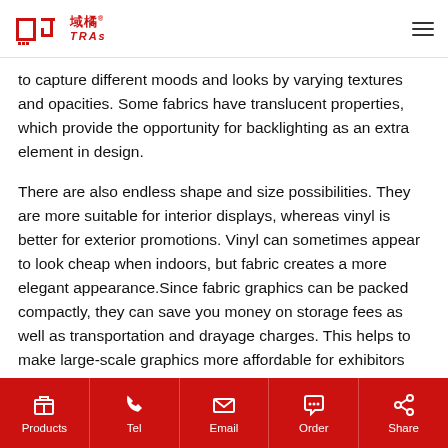域橘 TRAs
to capture different moods and looks by varying textures and opacities. Some fabrics have translucent properties, which provide the opportunity for backlighting as an extra element in design.
There are also endless shape and size possibilities. They are more suitable for interior displays, whereas vinyl is better for exterior promotions. Vinyl can sometimes appear to look cheap when indoors, but fabric creates a more elegant appearance.Since fabric graphics can be packed compactly, they can save you money on storage fees as well as transportation and drayage charges. This helps to make large-scale graphics more affordable for exhibitors with smaller budgets. The use of fabric graphics can also save your budget by extending the life of your tradeshow exhibit. Instead of buying a new exhibit, you can simply use fabric graphics to dress up or change the look of your current exhibit. There is also an
Products  Tel  Email  Order  Share